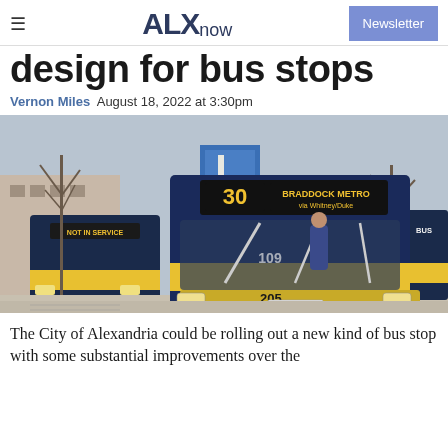ALXnow | Newsletter
design for bus stops
Vernon Miles  August 18, 2022 at 3:30pm
[Figure (photo): DASH buses at a bus stop in Alexandria, Virginia. A bus numbered 205 showing route 30 BRADDOCK METRO via Whitney/Duke is in the foreground; another bus marked NOT IN SERVICE is in the background. A driver stands near the front bus.]
The City of Alexandria could be rolling out a new kind of bus stop with some substantial improvements over the